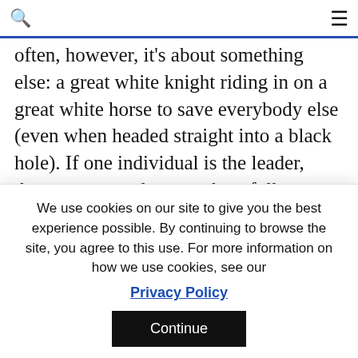🔍  ☰
often, however, it's about something else: a great white knight riding in on a great white horse to save everybody else (even when headed straight into a black hole). If one individual is the leader, then everyone else must be a follower. Do we really want a world of followers?
Think of the established organizations that you admire most. I'll bet that beyond leadership is a
We use cookies on our site to give you the best experience possible. By continuing to browse the site, you agree to this use. For more information on how we use cookies, see our
Privacy Policy
Continue